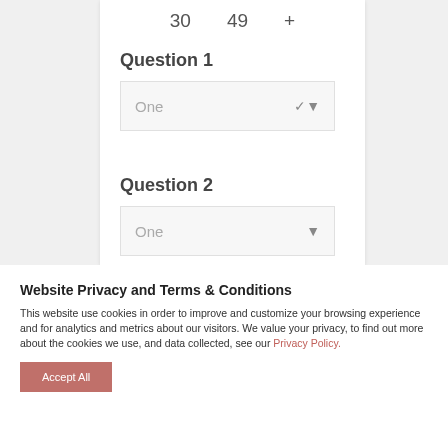30   49   +
Question 1
One
Question 2
One
Website Privacy and Terms & Conditions
This website use cookies in order to improve and customize your browsing experience and for analytics and metrics about our visitors. We value your privacy, to find out more about the cookies we use, and data collected, see our Privacy Policy.
Accept All